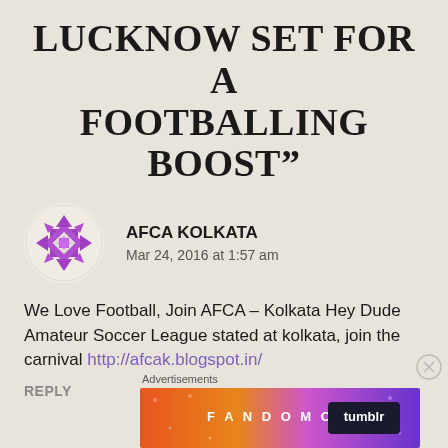LUCKNOW SET FOR A FOOTBALLING BOOST"
[Figure (illustration): Purple geometric snowflake/mandala pattern avatar icon in a circle, representing AFCA Kolkata commenter profile picture]
AFCA KOLKATA
Mar 24, 2016 at 1:57 am
We Love Football, Join AFCA – Kolkata Hey Dude Amateur Soccer League stated at kolkata, join the carnival http://afcak.blogspot.in/
REPLY
Advertisements
[Figure (screenshot): Fandom on Tumblr advertisement banner with colorful orange to purple gradient background and white text reading FANDOM ON tumblr]